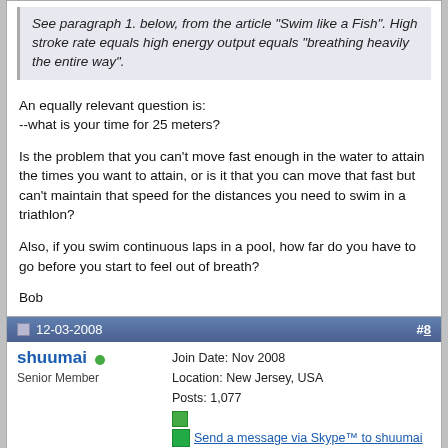See paragraph 1. below, from the article "Swim like a Fish". High stroke rate equals high energy output equals "breathing heavily the entire way".
An equally relevant question is:
--what is your time for 25 meters?

Is the problem that you can't move fast enough in the water to attain the times you want to attain, or is it that you can move that fast but can't maintain that speed for the distances you need to swim in a triathlon?

Also, if you swim continuous laps in a pool, how far do you have to go before you start to feel out of breath?

Bob
12-03-2008
#8
shuumai
Senior Member
Join Date: Nov 2008
Location: New Jersey, USA
Posts: 1,077
Send a message via Skype™ to shuumai
Quote: